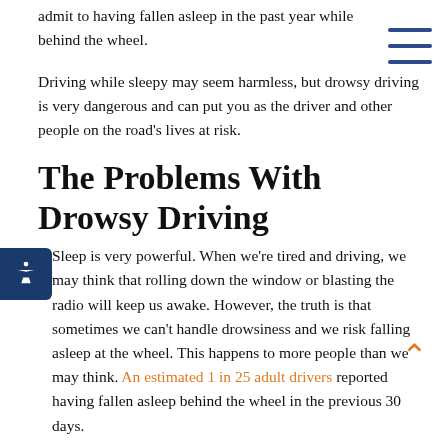admit to having fallen asleep in the past year while behind the wheel.
Driving while sleepy may seem harmless, but drowsy driving is very dangerous and can put you as the driver and other people on the road's lives at risk.
The Problems With Drowsy Driving
Sleep is very powerful. When we're tired and driving, we may think that rolling down the window or blasting the radio will keep us awake. However, the truth is that sometimes we can't handle drowsiness and we risk falling asleep at the wheel. This happens to more people than we may think. An estimated 1 in 25 adult drivers reported having fallen asleep behind the wheel in the previous 30 days.
Sleepiness contributes to slowed reaction times and